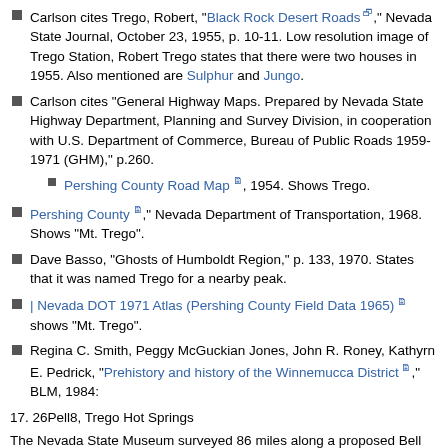Carlson cites Trego, Robert, "Black Rock Desert Roads," Nevada State Journal, October 23, 1955, p. 10-11. Low resolution image of Trego Station, Robert Trego states that there were two houses in 1955. Also mentioned are Sulphur and Jungo.
Carlson cites "General Highway Maps. Prepared by Nevada State Highway Department, Planning and Survey Division, in cooperation with U.S. Department of Commerce, Bureau of Public Roads 1959-1971 (GHM)," p.260.
Pershing County Road Map, 1954. Shows Trego.
Pershing County, Nevada Department of Transportation, 1968. Shows "Mt. Trego".
Dave Basso, "Ghosts of Humboldt Region," p. 133, 1970. States that it was named Trego for a nearby peak.
| Nevada DOT 1971 Atlas (Pershing County Field Data 1965) shows "Mt. Trego".
Regina C. Smith, Peggy McGuckian Jones, John R. Roney, Kathyrn E. Pedrick, "Prehistory and history of the Winnemucca District," BLM, 1984:
17. 26Pell8, Trego Hot Springs
The Nevada State Museum surveyed 86 miles along a proposed Bell Telephone undergound route in 1971. Among the sites found during this survey was 26Pell8, a major occupation site near Trego Hot Spring. Test excavations showed signif- icant depth and cultural features. Nevada Bell